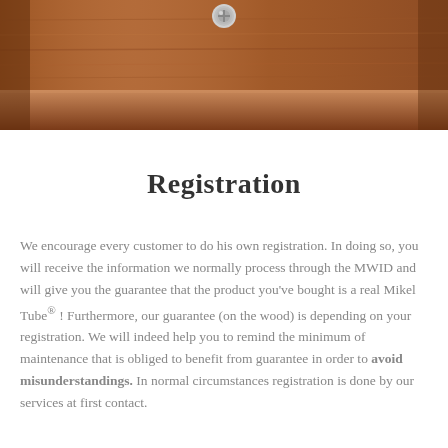[Figure (photo): Close-up photo of wooden furniture surface with a metal bolt/screw visible, warm brown tones]
Registration
We encourage every customer to do his own registration. In doing so, you will receive the information we normally process through the MWID and will give you the guarantee that the product you've bought is a real Mikel Tube® ! Furthermore, our guarantee (on the wood) is depending on your registration. We will indeed help you to remind the minimum of maintenance that is obliged to benefit from guarantee in order to avoid misunderstandings. In normal circumstances registration is done by our services at first contact.